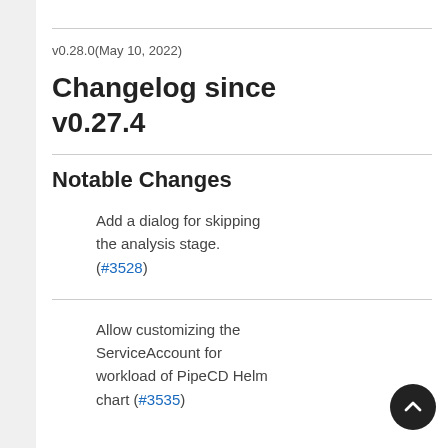v0.28.0(May 10, 2022)
Changelog since v0.27.4
Notable Changes
Add a dialog for skipping the analysis stage. (#3528)
Allow customizing the ServiceAccount for workload of PipeCD Helm chart (#3535)